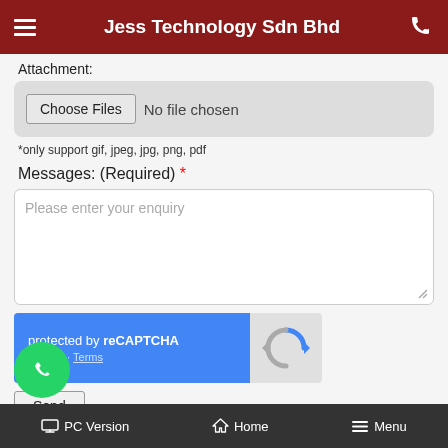Jess Technology Sdn Bhd
Attachment:
[Figure (screenshot): File input field with 'Choose Files' button and 'No file chosen' text]
*only support gif, jpeg, jpg, png, pdf
Messages: (Required) *
[Figure (screenshot): Textarea with placeholder text 'Please enter your enquiry']
[Figure (screenshot): reCAPTCHA widget: 'protected by reCAPTCHA' with Privacy and Terms links, and reCAPTCHA logo]
[Figure (screenshot): Send button]
[Figure (screenshot): WhatsApp floating button (green circle with phone handset icon)]
PC Version   Home   Menu